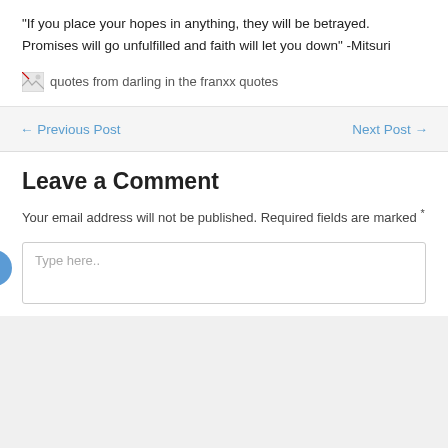“If you place your hopes in anything, they will be betrayed. Promises will go unfulfilled and faith will let you down” -Mitsuri
[Figure (illustration): Broken image placeholder with alt text: quotes from darling in the franxx quotes]
← Previous Post
Next Post →
Leave a Comment
Your email address will not be published. Required fields are marked *
Type here..